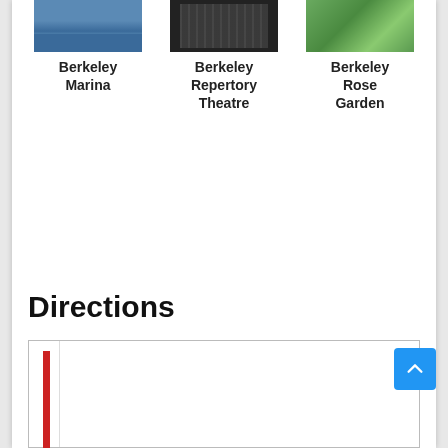[Figure (photo): Three photos in a row: Berkeley Marina (waterfront/harbor), Berkeley Repertory Theatre (dark interior), Berkeley Rose Garden (green garden path)]
Berkeley Marina
Berkeley Repertory Theatre
Berkeley Rose Garden
Directions
[Figure (screenshot): Directions map/interface box with a red vertical bar on the left side indicating a route, and a gray indicator below it. The box has a sidebar with a thin border.]